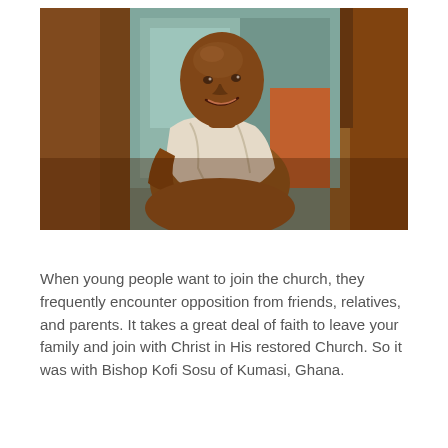[Figure (illustration): A painting depicting an elderly African man with a bald head, wearing a white loose garment, smiling warmly. He is seated in what appears to be an alleyway or narrow street with wooden structures and a blue-painted wall in the background. The painting uses warm earth tones of brown, orange, and teal.]
When young people want to join the church, they frequently encounter opposition from friends, relatives, and parents. It takes a great deal of faith to leave your family and join with Christ in His restored Church. So it was with Bishop Kofi Sosu of Kumasi, Ghana.